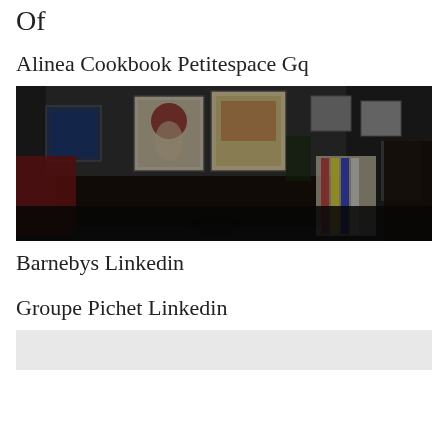Of
Alinea Cookbook Petitespace Gq
[Figure (photo): Interior room photo showing a dark, moody living/dining space with various framed artworks on walls including a portrait with red hair, a colorful poster, a blue artwork, and other framed pieces. The room has a dining table with chairs, a red chair, plants, and colorful striped upholstery on furniture.]
Barnebys Linkedin
Groupe Pichet Linkedin
[Figure (photo): Partial bottom image, light gray background visible]